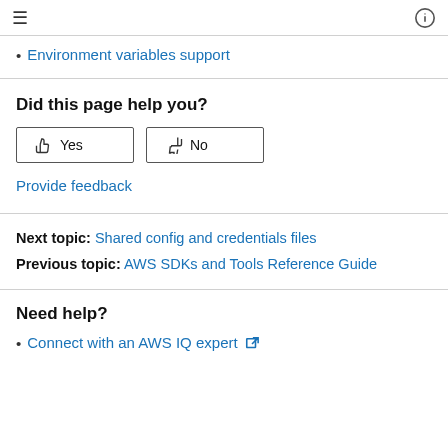≡  ⓘ
Environment variables support
Did this page help you?
Yes  No
Provide feedback
Next topic: Shared config and credentials files
Previous topic: AWS SDKs and Tools Reference Guide
Need help?
Connect with an AWS IQ expert ↗